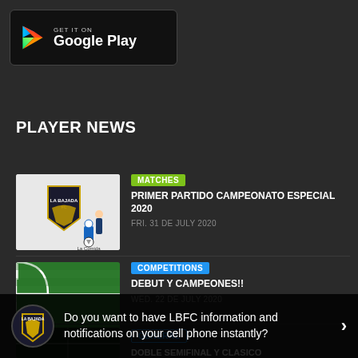[Figure (logo): Google Play badge - black rounded rectangle with Google Play logo and text GET IT ON Google Play]
PLAYER NEWS
[Figure (photo): La Bajada FC logo with player figures and La Comida branding on dark background]
MATCHES
PRIMER PARTIDO CAMPEONATO ESPECIAL 2020
FRI. 31 DE JULY 2020
[Figure (photo): Football/soccer field corner view with green grass and white lines]
COMPETITIONS
DEBUT Y CAMPEONES!!
WED. 22 DE JULY 2020
[Figure (photo): Football/soccer field aerial view with dark overlay, La Bajada FC logo circle]
GENERAL
DOBLE SEMIFINAL Y CLASICO
Do you want to have LBFC information and notifications on your cell phone instantly?